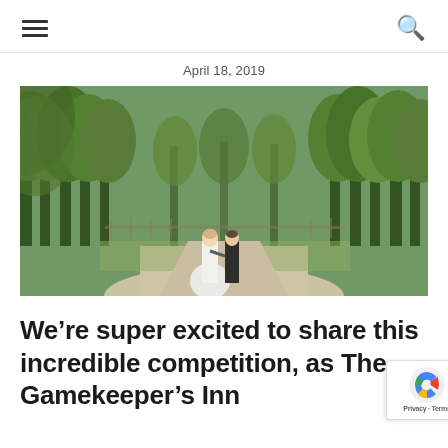≡  🔍
April 18, 2019
[Figure (photo): A bride in a white ball gown and a groom in a dark suit walk hand-in-hand along a gravel path lined with tall green trees in a park-like outdoor setting.]
We're super excited to share this incredible competition, as The Gamekeeper's Inn